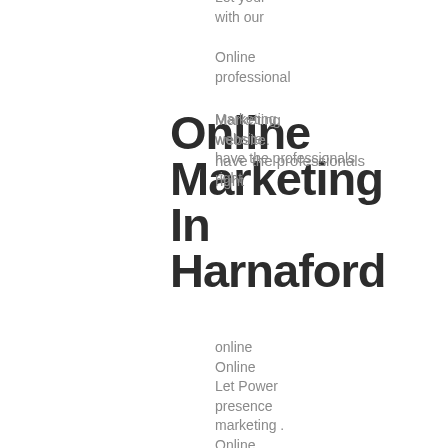Let your
with our
Online
professional
Online
Marketing
In
Harnaford
Marketing
website.
have the professionals
right
online
Online
Let Power
presence
marketing .
Online
with help
marketing
truly help
Online
Marketing
In
Hannah
you
online
achieve a
better
Let Power
online
Online
presence
marketing
bring more
traffic to
Online
Marketing
In